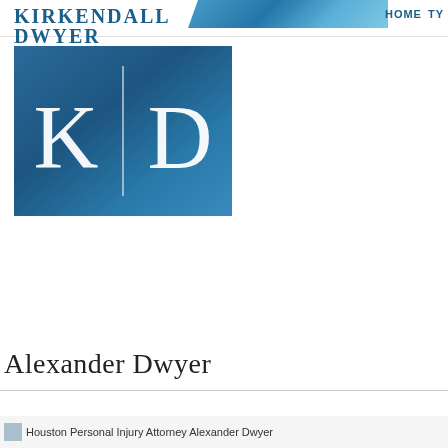[Figure (logo): Kirkendall Dwyer LLP logo with Dallas and Houston locations in blue serif text]
[Figure (logo): KD monogram logo on blue gradient background with vertical divider line between K and D]
HOME TY
Alexander Dwyer
Houston Personal Injury Attorney Alexander Dwyer